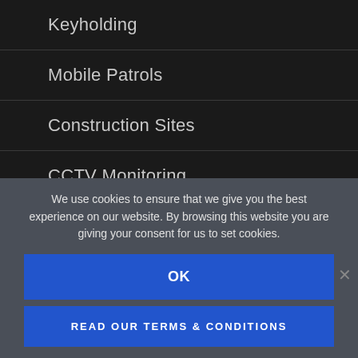Keyholding
Mobile Patrols
Construction Sites
CCTV Monitoring
Reception Security
Concierge Security
We use cookies to ensure that we give you the best experience on our website. By browsing this website you are giving your consent for us to set cookies.
OK
READ OUR TERMS & CONDITIONS